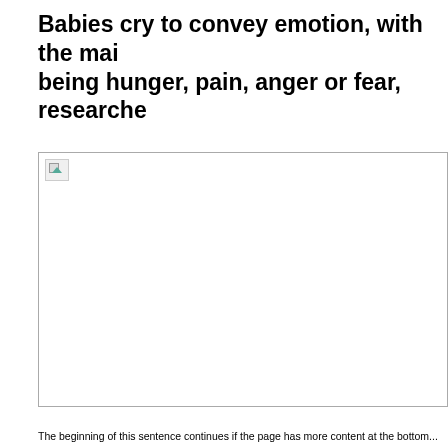Babies cry to convey emotion, with the main being hunger, pain, anger or fear, researche
[Figure (photo): A broken/unloaded image placeholder occupying most of the page below the title]
The beginning of the sentence that continues below the image...